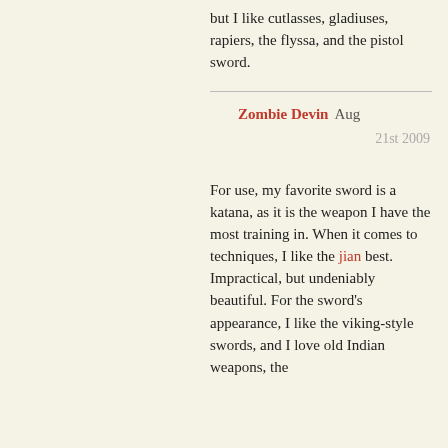but I like cutlasses, gladiuses, rapiers, the flyssa, and the pistol sword.
Zombie Devin Aug 21st 2009
For use, my favorite sword is a katana, as it is the weapon I have the most training in. When it comes to techniques, I like the jian best. Impractical, but undeniably beautiful. For the sword's appearance, I like the viking-style swords, and I love old Indian weapons, the